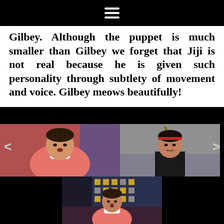≡
Gilbey. Although the puppet is much smaller than Gilbey we forget that Jiji is not real because he is given such personality through subtlety of movement and voice. Gilbey meows beautifully!
[Figure (photo): Theater production photo gallery showing three images: top-left shows an actress in a pink sweater with white collar, mouth open as if singing/speaking; top-right shows a performer in black holding a stick/prop with a headband; bottom-center shows the same actress in pink sweater on stage with a colorful set backdrop.]